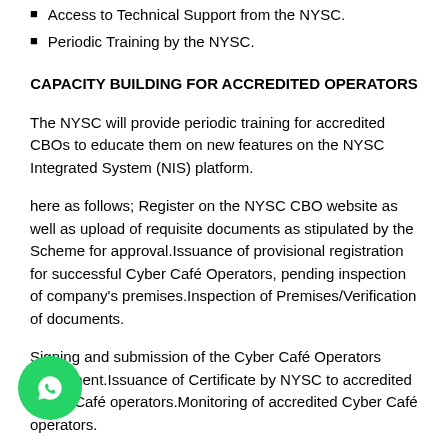Access to Technical Support from the NYSC.
Periodic Training by the NYSC.
CAPACITY BUILDING FOR ACCREDITED OPERATORS
The NYSC will provide periodic training for accredited CBOs to educate them on new features on the NYSC Integrated System (NIS) platform.
here as follows; Register on the NYSC CBO website as well as upload of requisite documents as stipulated by the Scheme for approval.Issuance of provisional registration for successful Cyber Café Operators, pending inspection of company's premises.Inspection of Premises/Verification of documents.
Signing and submission of the Cyber Café Operators Agreement.Issuance of Certificate by NYSC to accredited Cyber Café Operators.Monitoring of accredited Cyber Café operators.
START HERE Fees for interested Cyber Café Operators